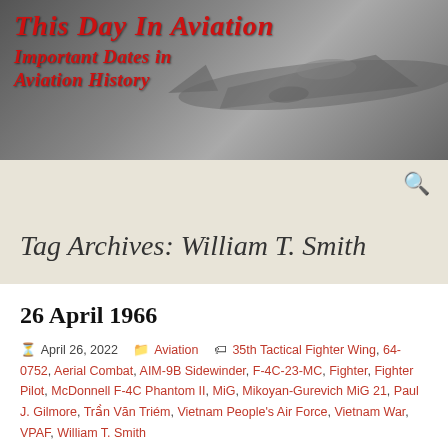This Day in Aviation
Important Dates in Aviation History
Tag Archives: William T. Smith
26 April 1966
April 26, 2022   Aviation   35th Tactical Fighter Wing, 64-0752, Aerial Combat, AIM-9B Sidewinder, F-4C-23-MC, Fighter, Fighter Pilot, McDonnell F-4C Phantom II, MiG, Mikoyan-Gurevich MiG 21, Paul J. Gilmore, Trần Văn Triém, Vietnam People's Air Force, Vietnam War, VPAF, William T. Smith